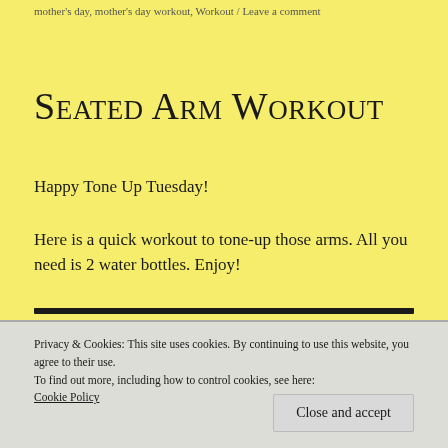mother's day, mother's day workout, Workout / Leave a comment
Seated Arm Workout
Happy Tone Up Tuesday!
Here is a quick workout to tone-up those arms. All you need is 2 water bottles. Enjoy!
Privacy & Cookies: This site uses cookies. By continuing to use this website, you agree to their use.
To find out more, including how to control cookies, see here: Cookie Policy
Close and accept